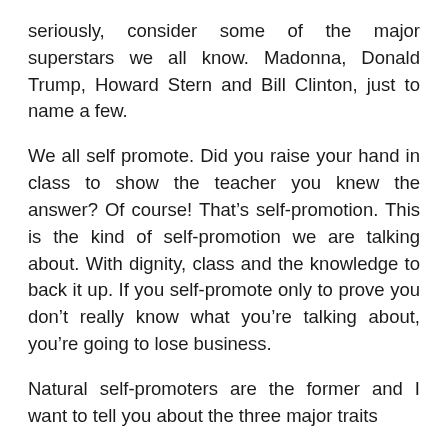seriously, consider some of the major superstars we all know. Madonna, Donald Trump, Howard Stern and Bill Clinton, just to name a few.
We all self promote. Did you raise your hand in class to show the teacher you knew the answer? Of course! That's self-promotion. This is the kind of self-promotion we are talking about. With dignity, class and the knowledge to back it up. If you self-promote only to prove you don't really know what you're talking about, you're going to lose business.
Natural self-promoters are the former and I want to tell you about the three major traits